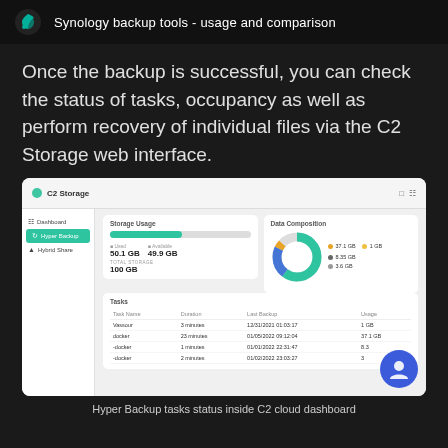Synology backup tools - usage and comparison
Once the backup is successful, you can check the status of tasks, occupancy as well as perform recovery of individual files via the C2 Storage web interface.
[Figure (screenshot): C2 Storage web dashboard showing Hyper Backup tasks. Left sidebar has Dashboard, Hyper Backup (active/highlighted in green), and Hybrid Share. Main area shows Storage Usage with a progress bar (Used: 50.1 GB, Available: 49.9 GB, Total Storage: 100 GB) and Data Composition donut chart (37.1 GB, 1 GB, 8.35 GB, 3.6 GB). Below is a Tasks table with columns Task Name, Duration, Last Backup, Usage showing rows: Vassour 3 minutes 12/31/2021 01:03:17 1 GB; docker 23 minutes 01/05/2022 09:12:04 37.1 GB; -docker 1 minutes 01/01/2022 22:31:47 8.3...; -docker 2 minutes 01/02/2022 23:03:27 3... A blue user avatar circle overlaps the bottom right.]
Hyper Backup tasks status inside C2 cloud dashboard